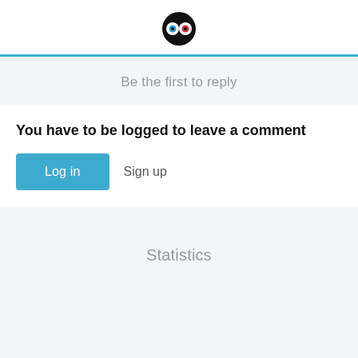[logo: owl-like icon with blue and red eyes]
Be the first to reply
You have to be logged to leave a comment
Log in  Sign up
Statistics